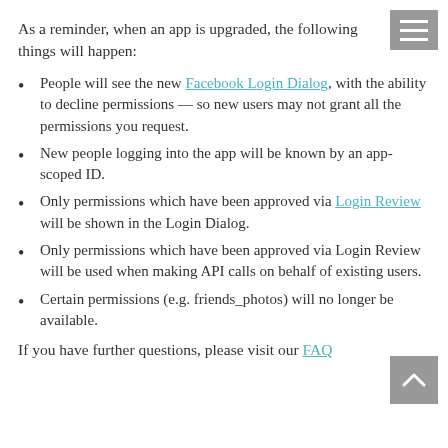As a reminder, when an app is upgraded, the following things will happen:
People will see the new Facebook Login Dialog, with the ability to decline permissions — so new users may not grant all the permissions you request.
New people logging into the app will be known by an app-scoped ID.
Only permissions which have been approved via Login Review will be shown in the Login Dialog.
Only permissions which have been approved via Login Review will be used when making API calls on behalf of existing users.
Certain permissions (e.g. friends_photos) will no longer be available.
If you have further questions, please visit our FAQ